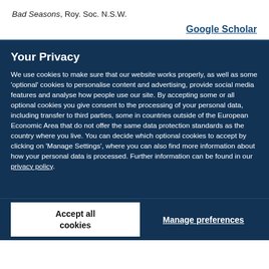Bad Seasons, Roy. Soc. N.S.W.
Google Scholar
Your Privacy
We use cookies to make sure that our website works properly, as well as some ‘optional’ cookies to personalise content and advertising, provide social media features and analyse how people use our site. By accepting some or all optional cookies you give consent to the processing of your personal data, including transfer to third parties, some in countries outside of the European Economic Area that do not offer the same data protection standards as the country where you live. You can decide which optional cookies to accept by clicking on ‘Manage Settings’, where you can also find more information about how your personal data is processed. Further information can be found in our privacy policy.
Accept all cookies
Manage preferences